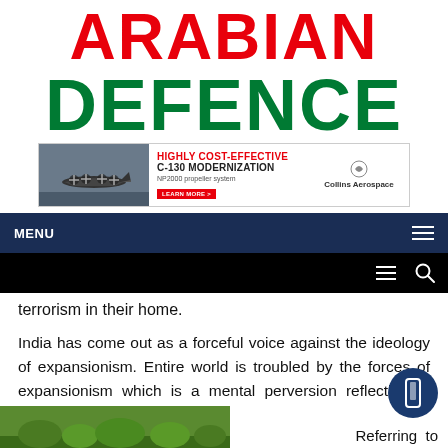ARABIAN DEFENCE
[Figure (infographic): Collins Aerospace advertisement banner showing a C-130 aircraft with text 'HIGHLY COST-EFFECTIVE C-130 MODERNIZATION' and Collins Aerospace logo]
MENU
terrorism in their home.
India has come out as a forceful voice against the ideology of expansionism. Entire world is troubled by the forces of expansionism which is a mental perversion reflective of 18th century thinking, he said.
Referring to